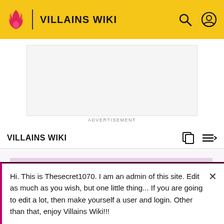VILLAINS WIKI
[Figure (other): Advertisement placeholder rectangle, light gray]
ADVERTISEMENT
VILLAINS WIKI
Clockwork Repair Droids
Hi. This is Thesecret1070. I am an admin of this site. Edit as much as you wish, but one little thing... If you are going to edit a lot, then make yourself a user and login. Other than that, enjoy Villains Wiki!!!